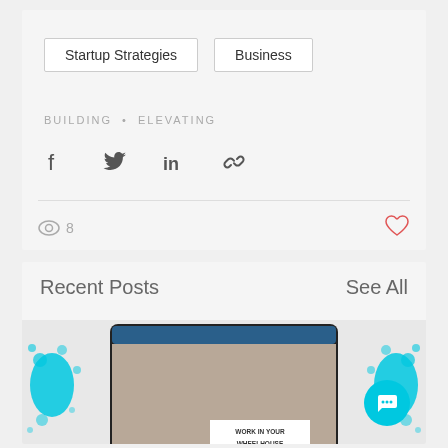Startup Strategies
Business
BUILDING • ELEVATING
[Figure (infographic): Social sharing icons: Facebook, Twitter, LinkedIn, and link/chain icon]
8
[Figure (other): Heart icon (like button) in red/salmon color]
Recent Posts
See All
[Figure (photo): Laptop screen showing a woman smiling with text 'WORK IN YOUR WHEELHOUSE' and 'THE CREATIVE ARCHITECT.COM', with cyan/blue paint splatter decorations on the sides. A teal chat bubble button is in the bottom right corner.]